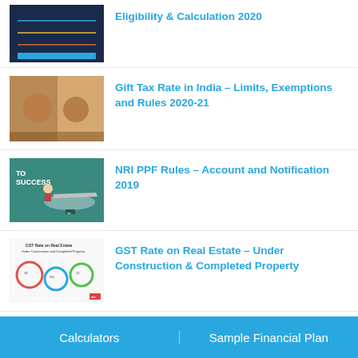Eligibility & Calculation 2020
Gift Tax Rate in India – Limits, Exemptions and Rules 2020-21
NRI PPF Rules – Account and Notification 2019
GST Rate on Real Estate – Under Construction & Completed Property
Should I Surrender My Jeevan Anand Policy from LIC?
Calculators    Sample Financial Plan